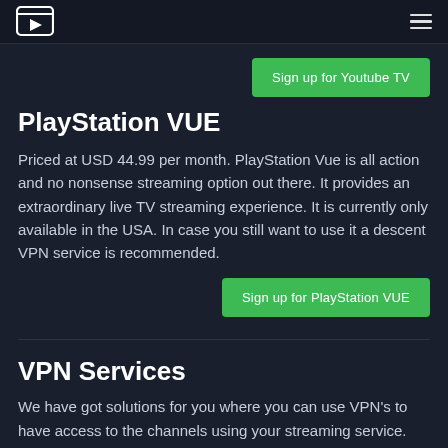[TV Logo] [Hamburger menu]
[Figure (other): Green button: Sign up for Youtube TV]
PlayStation VUE
Priced at USD 44.99 per month. PlayStation Vue is all action and no nonsense streaming option out there. It provides an extraordinary live TV streaming experience. It is currently only available in the USA. In case you still want to use it a descent VPN service is recommended.
[Figure (other): Green button: Sign up for PlayStation VUE]
VPN Services
We have got solutions for you where you can use VPN's to have access to the channels using your streaming service. Though you may find tons of VPN brands over the Internet